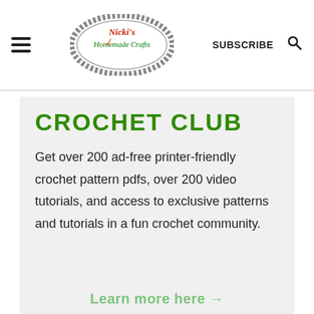Nicki's Homemade Crafts — SUBSCRIBE
CROCHET CLUB
Get over 200 ad-free printer-friendly crochet pattern pdfs, over 200 video tutorials, and access to exclusive patterns and tutorials in a fun crochet community.
Learn more here →